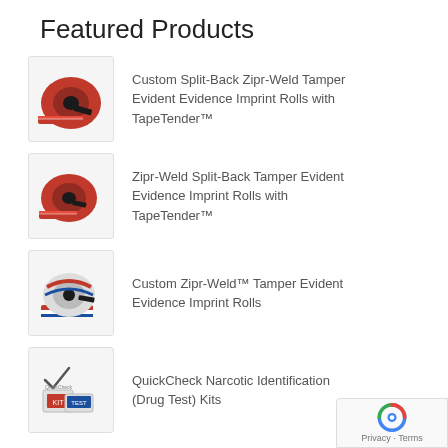Featured Products
Custom Split-Back Zipr-Weld Tamper Evident Evidence Imprint Rolls with TapeTender™
Zipr-Weld Split-Back Tamper Evident Evidence Imprint Rolls with TapeTender™
Custom Zipr-Weld™ Tamper Evident Evidence Imprint Rolls
QuickCheck Narcotic Identification (Drug Test) Kits